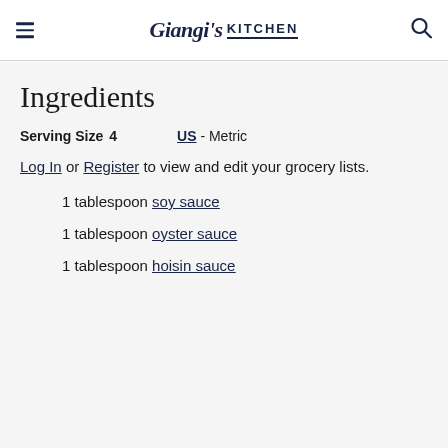Giangi's KITCHEN
Ingredients
Serving Size   4      US - Metric
Log In or Register to view and edit your grocery lists.
1 tablespoon soy sauce
1 tablespoon oyster sauce
1 tablespoon hoisin sauce